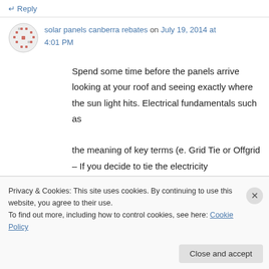↵ Reply
solar panels canberra rebates on July 19, 2014 at 4:01 PM
Spend some time before the panels arrive looking at your roof and seeing exactly where the sun light hits. Electrical fundamentals such as

the meaning of key terms (e. Grid Tie or Offgrid – If you decide to tie the electricity

to your energy grid, you will need an invertor to
Privacy & Cookies: This site uses cookies. By continuing to use this website, you agree to their use.
To find out more, including how to control cookies, see here: Cookie Policy